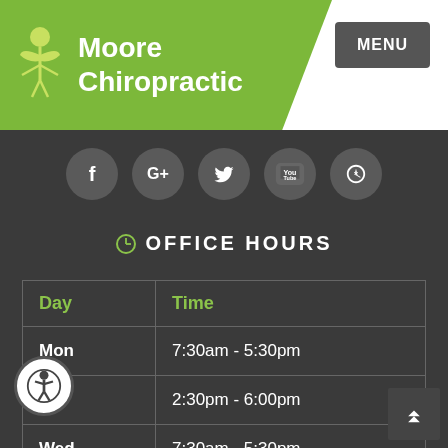[Figure (logo): Moore Chiropractic logo with green caduceus figure and green background header banner]
Moore Chiropractic
[Figure (infographic): Social media icons: Facebook, Google+, Twitter, YouTube, Yelp — grey circular buttons]
OFFICE HOURS
| Day | Time |
| --- | --- |
| Mon | 7:30am - 5:30pm |
| Tue | 2:30pm - 6:00pm |
| Wed | 7:30am - 5:30pm |
| Thu | 2:30pm - 6:00pm |
| Fri | 7:30am - 12:00pm |